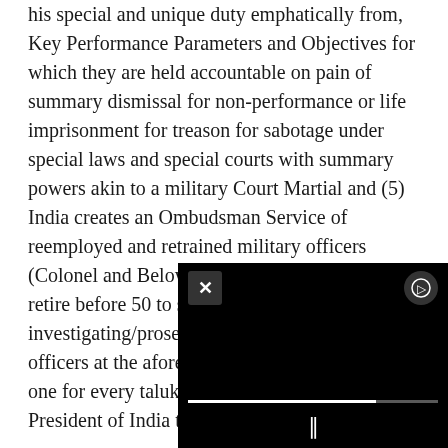his special and unique duty emphatically from, Key Performance Parameters and Objectives for which they are held accountable on pain of summary dismissal for non-performance or life imprisonment for treason for sabotage under special laws and special courts with summary powers akin to a military Court Martial and (5) India creates an Ombudsman Service of reemployed and retrained military officers (Colonel and Below, JCOs and NCOs) who retire before 50 to serve as presiding officers, investigating/prosecuting and enforcement officers at the afore mentioned “Special Courts”, one for every taluk wit... incarcerate, try and pu... President of India to a... the Special Laws fram...
[Figure (other): A black video player overlay in the bottom-right portion of the page, showing a close button (X) on the top-left, a circular icon button on the top-right, a progress bar, and a pause button (||) at the bottom center.]